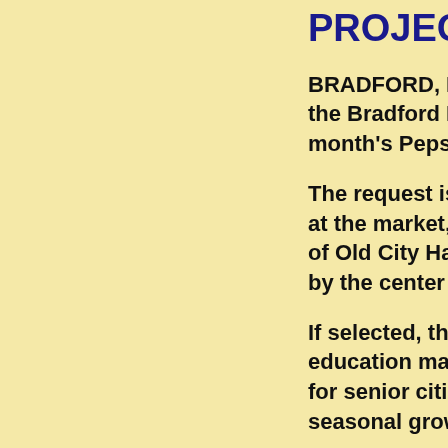PROJECT
BRADFORD, Pa. – the Bradford Far month's Pepsi R
The request is fo at the market, wh of Old City Hall c by the center and
If selected, the g education materi for senior citizen seasonal grower